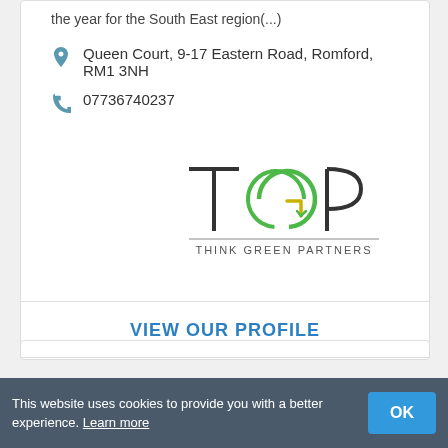the year for the South East region(...)
Queen Court, 9-17 Eastern Road, Romford, RM1 3NH
07736740237
[Figure (logo): TGP Think Green Partners logo with stylized letters T, G, P where the G contains a green leaf/arrow element]
VIEW OUR PROFILE
This website uses cookies to provide you with a better experience. Learn more